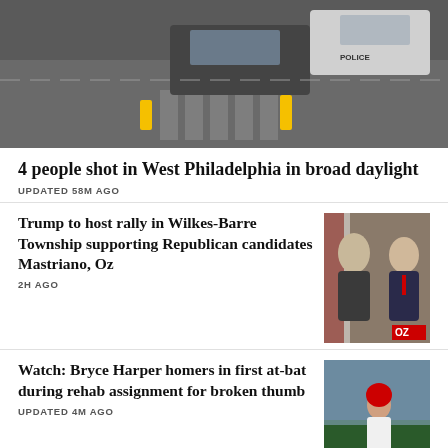[Figure (photo): Aerial view of a street scene with police cars and a crosswalk, likely a crime scene in West Philadelphia]
4 people shot in West Philadelphia in broad daylight
UPDATED 58M AGO
Trump to host rally in Wilkes-Barre Township supporting Republican candidates Mastriano, Oz
2H AGO
[Figure (photo): Photo of a man in a suit at a podium on the left, and another man in a suit on the right, with an OZ label in the corner]
Watch: Bryce Harper homers in first at-bat during rehab assignment for broken thumb
UPDATED 4M AGO
[Figure (photo): Baseball player running bases in a Phillies uniform]
Daughter identifies man fighting for his life after Northeast Philly hit-and-run as James Doughty
[Figure (photo): Portrait photo of a man wearing glasses and a dark cap, outdoors]